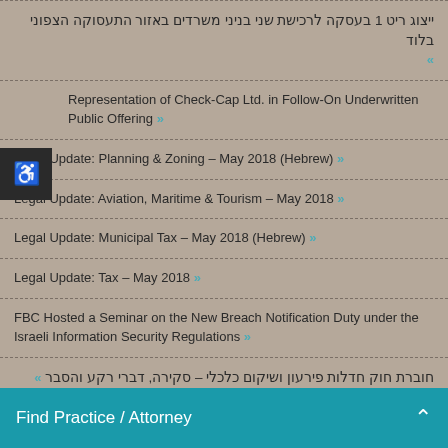ייצוג ריט 1 בעסקה לרכישת שני בניני משרדים באזור התעסוקה הצפוני בלוד »
Representation of Check-Cap Ltd. in Follow-On Underwritten Public Offering »
Legal Update: Planning & Zoning – May 2018 (Hebrew) »
Legal Update: Aviation, Maritime & Tourism – May 2018 »
Legal Update: Municipal Tax – May 2018 (Hebrew) »
Legal Update: Tax – May 2018 »
FBC Hosted a Seminar on the New Breach Notification Duty under the Israeli Information Security Regulations »
חוברת חוק חדלות פירעון ושיקום כלכלי – סקירה, דברי רקע והסבר »
פתיחת תחום מיסוי מוניציפלי במשרדנו »
Find Practice / Attorney